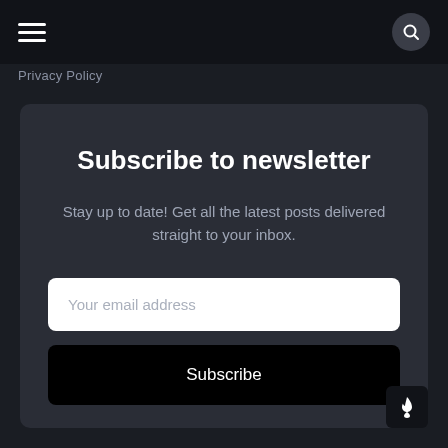≡  🔍
Privacy Policy
Subscribe to newsletter
Stay up to date! Get all the latest posts delivered straight to your inbox.
Your email address
Subscribe